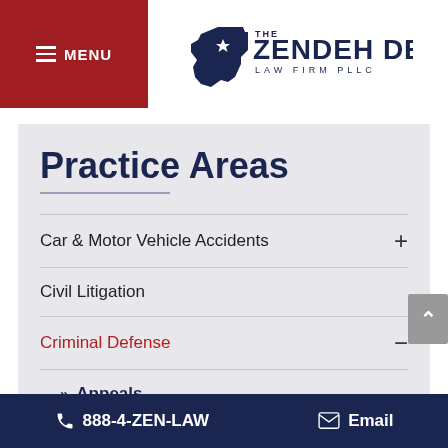≡ MENU | The Zendeh Del Law Firm PLLC
Practice Areas
Car & Motor Vehicle Accidents  +
Civil Litigation
Criminal Defense  −
»  Appeals
888-4-ZEN-LAW   Email